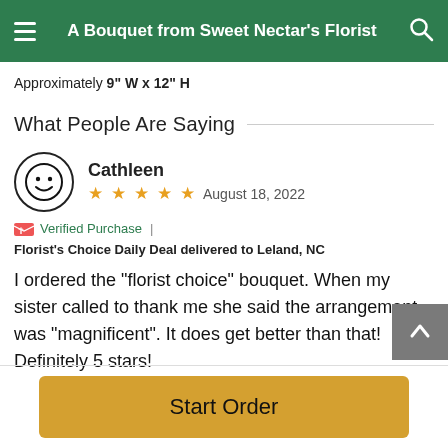A Bouquet from Sweet Nectar's Florist
Approximately 9" W x 12" H
What People Are Saying
Cathleen
★★★★★  August 18, 2022
🌸 Verified Purchase  |  Florist's Choice Daily Deal delivered to Leland, NC
I ordered the "florist choice" bouquet. When my sister called to thank me she said the arrangement was "magnificent". It does get better than that! Definitely 5 stars!